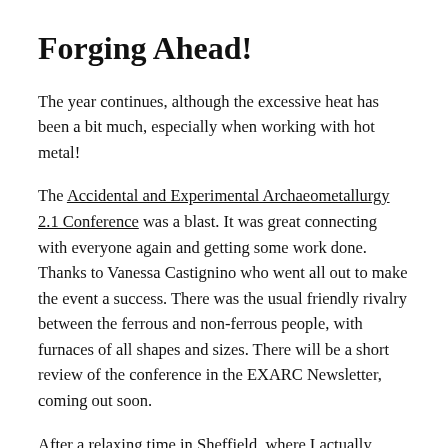Forging Ahead!
The year continues, although the excessive heat has been a bit much, especially when working with hot metal!
The Accidental and Experimental Archaeometallurgy 2.1 Conference was a blast. It was great connecting with everyone again and getting some work done. Thanks to Vanessa Castignino who went all out to make the event a success. There was the usual friendly rivalry between the ferrous and non-ferrous people, with furnaces of all shapes and sizes. There will be a short review of the conference in the EXARC Newsletter, coming out soon.
After a relaxing time in Sheffield, where I actually